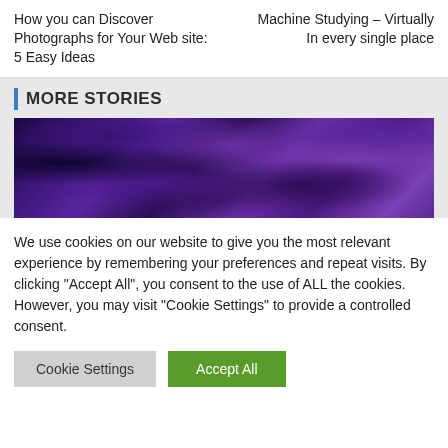How you can Discover Photographs for Your Web site: 5 Easy Ideas
Machine Studying – Virtually In every single place
MORE STORIES
[Figure (photo): Close-up photograph of dark purple and violet textured surface, resembling mineral or organic material]
We use cookies on our website to give you the most relevant experience by remembering your preferences and repeat visits. By clicking "Accept All", you consent to the use of ALL the cookies. However, you may visit "Cookie Settings" to provide a controlled consent.